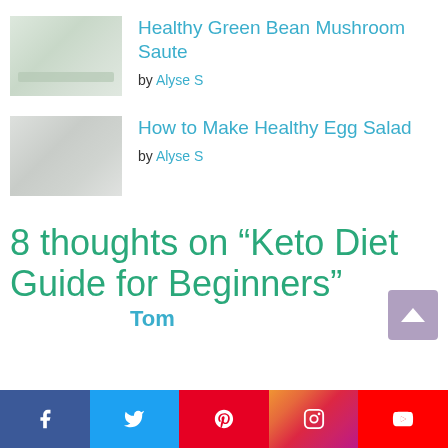[Figure (photo): Thumbnail image of green bean mushroom saute dish]
Healthy Green Bean Mushroom Saute
by Alyse S
[Figure (photo): Thumbnail image of egg salad dish]
How to Make Healthy Egg Salad
by Alyse S
8 thoughts on “Keto Diet Guide for Beginners”
Tom